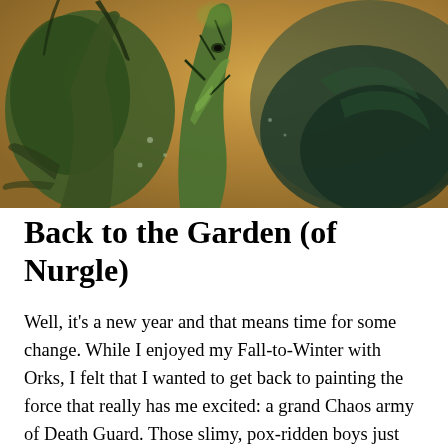[Figure (illustration): Dark fantasy illustration showing grotesque tree-like creature figures with green and brown tones, tentacled and rotting organic forms against an orange-brown background. Warhammer 40K / Nurgle themed artwork.]
Back to the Garden (of Nurgle)
Well, it's a new year and that means time for some change. While I enjoyed my Fall-to-Winter with Orks, I felt that I wanted to get back to painting the force that really has me excited: a grand Chaos army of Death Guard. Those slimy, pox-ridden boys just interest me most as a painting challenge, and I'm trying to recognize